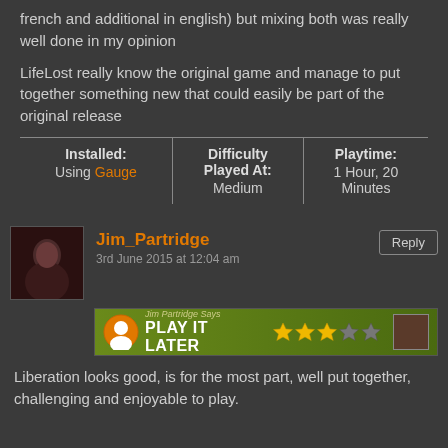french and additional in english) but mixing both was really well done in my opinion
LifeLost really know the original game and manage to put together something new that could easily be part of the original release
| Installed: | Difficulty Played At: | Playtime: |
| --- | --- | --- |
| Using Gauge | Medium | 1 Hour, 20 Minutes |
Jim_Partridge
3rd June 2015 at 12:04 am
[Figure (infographic): Rating banner showing 'Jim Partridge Says PLAY IT LATER' with 3 stars on a green background]
Liberation looks good, is for the most part, well put together, challenging and enjoyable to play.